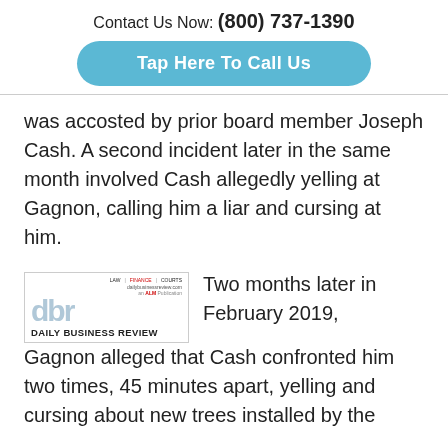Contact Us Now: (800) 737-1390
[Figure (other): Blue rounded button with white text reading 'Tap Here To Call Us']
was accosted by prior board member Joseph Cash. A second incident later in the same month involved Cash allegedly yelling at Gagnon, calling him a liar and cursing at him.
[Figure (logo): Daily Business Review logo with 'dbr' in light blue letters and 'DAILY BUSINESS REVIEW' in bold black text below]
Two months later in February 2019, Gagnon alleged that Cash confronted him two times, 45 minutes apart, yelling and cursing about new trees installed by the